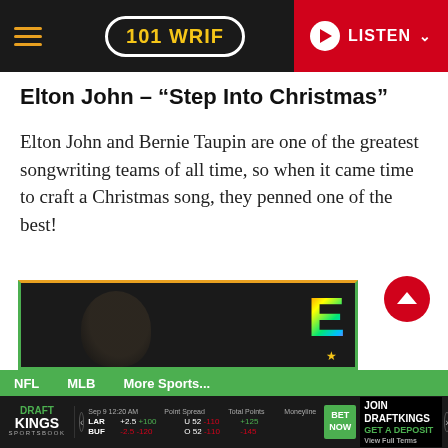101 WRIF — LISTEN
Elton John – “Step Into Christmas”
Elton John and Bernie Taupin are one of the greatest songwriting teams of all time, so when it came time to craft a Christmas song, they penned one of the best!
[Figure (screenshot): Video thumbnail showing a silhouette of Elton John's head against a dark background, with a colorful rainbow-gradient letter E with a star logo on the right side.]
NFL   MLB   More Sports...
DraftKings Sportsbook — Sep 9 12:20 AM — LAR +2.5 +100 / BUF -2.5 -120 — U 52 -110 / O 52 -110 — +125 / -145 — BET NOW — JOIN DRAFTKINGS GET A DEPOSIT — View Full Terms